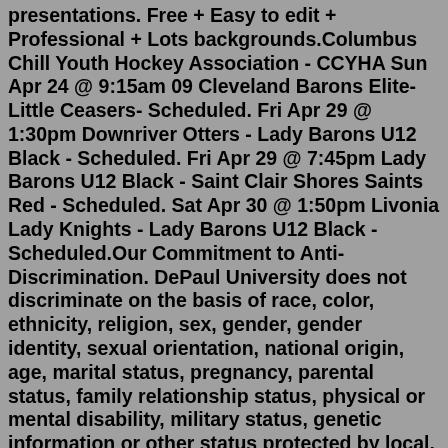presentations. Free + Easy to edit + Professional + Lots backgrounds.Columbus Chill Youth Hockey Association - CCYHA Sun Apr 24 @ 9:15am 09 Cleveland Barons Elite- Little Ceasers- Scheduled. Fri Apr 29 @ 1:30pm Downriver Otters - Lady Barons U12 Black - Scheduled. Fri Apr 29 @ 7:45pm Lady Barons U12 Black - Saint Clair Shores Saints Red - Scheduled. Sat Apr 30 @ 1:50pm Livonia Lady Knights - Lady Barons U12 Black - Scheduled.Our Commitment to Anti-Discrimination. DePaul University does not discriminate on the basis of race, color, ethnicity, religion, sex, gender, gender identity, sexual orientation, national origin, age, marital status, pregnancy, parental status, family relationship status, physical or mental disability, military status, genetic information or other status protected by local, state or federal ...KMHA So Proud of Ava Murphy. Ava Murphy, KMHA Alumni, helped Canada's under-18 Women bring home the gold at the U18 World Hockey Championship held in Madison, Wis. Ava played her minor with Kitchener and will be